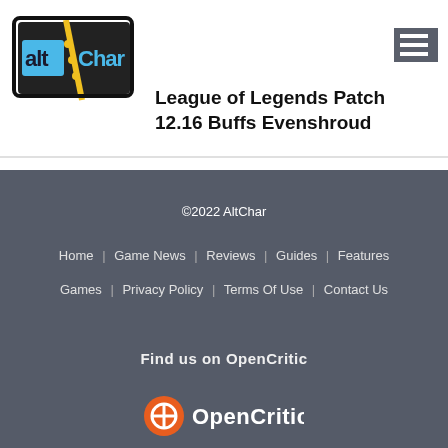[Figure (logo): AltChar logo - stylized pixel-art block letters spelling 'altChar']
League of Legends Patch 12.16 Buffs Evenshroud
©2022 AltChar
Home | Game News | Reviews | Guides | Features
Games | Privacy Policy | Terms Of Use | Contact Us
Find us on OpenCritic
OpenCritic logo
[Figure (logo): OpenCritic logo - orange circular icon with 'OpenCritic' text]